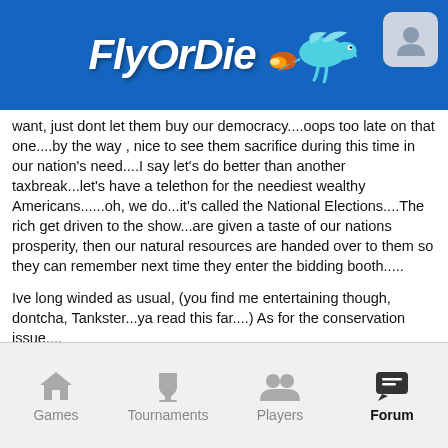FlyOrDie
want, just dont let them buy our democracy....oops too late on that one....by the way , nice to see them sacrifice during this time in our nation's need....I say let's do better than another taxbreak...let's have a telethon for the neediest wealthy Americans......oh, we do...it's called the National Elections....The rich get driven to the show...are given a taste of our nations prosperity, then our natural resources are handed over to them so they can remember next time they enter the bidding booth.....
Ive long winded as usual, (you find me entertaining though, dontcha, Tankster...ya read this far....) As for the conservation issue....
#1...no Utah "land grab"...it's federal land...never was Utah's...Utah entered statehood that way  (GOD BLESS YOU TEDDY ROOSEVELT and sorry we didnt keep your flame alive)
The real grab is when corporations strip those lands of value (ever heard of heap leach mining???) and leave us to clean up the land, the streams (so many gone now) and the aquifer...if THAT'S what you prefer, you're in luck, the GOP
Games    Tournaments    Players    Forum